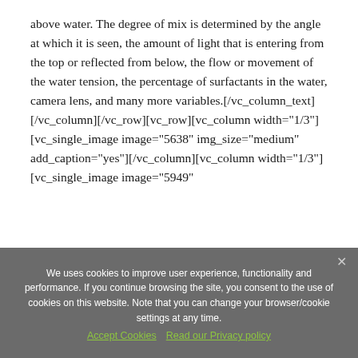above water. The degree of mix is determined by the angle at which it is seen, the amount of light that is entering from the top or reflected from below, the flow or movement of the water tension, the percentage of surfactants in the water, camera lens, and many more variables.[/vc_column_text][/vc_column][/vc_row][vc_row][vc_column width="1/3"][vc_single_image image="5638" img_size="medium" add_caption="yes" onclick="kalium_lightbox"][/vc_column][vc_column width="1/3"][vc_single_image image="5949"
We uses cookies to improve user experience, functionality and performance. If you continue browsing the site, you consent to the use of cookies on this website. Note that you can change your browser/cookie settings at any time.
Accept Cookies  Read our Privacy policy